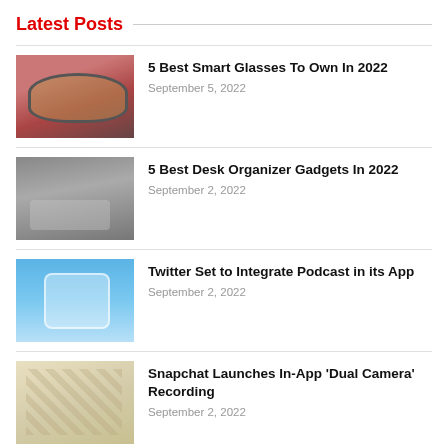Latest Posts
5 Best Smart Glasses To Own In 2022 — September 5, 2022
5 Best Desk Organizer Gadgets In 2022 — September 2, 2022
Twitter Set to Integrate Podcast in its App — September 2, 2022
Snapchat Launches In-App 'Dual Camera' Recording — September 2, 2022